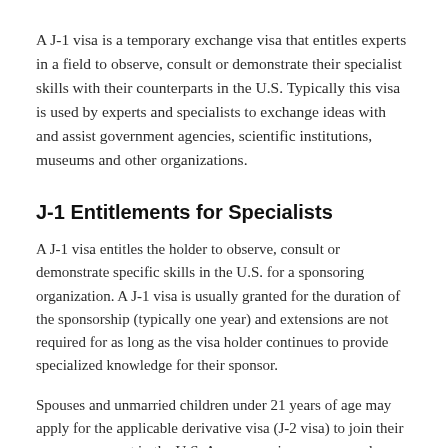A J-1 visa is a temporary exchange visa that entitles experts in a field to observe, consult or demonstrate their specialist skills with their counterparts in the U.S. Typically this visa is used by experts and specialists to exchange ideas with and assist government agencies, scientific institutions, museums and other organizations.
J-1 Entitlements for Specialists
A J-1 visa entitles the holder to observe, consult or demonstrate specific skills in the U.S. for a sponsoring organization. A J-1 visa is usually granted for the duration of the sponsorship (typically one year) and extensions are not required for as long as the visa holder continues to provide specialized knowledge for their sponsor.
Spouses and unmarried children under 21 years of age may apply for the applicable derivative visa (J-2 visa) to join their spouse or parent in the U.S. Accompanying spouses and children are entitled to study in the U.S. and may undertake employment with some caveats about authorization.